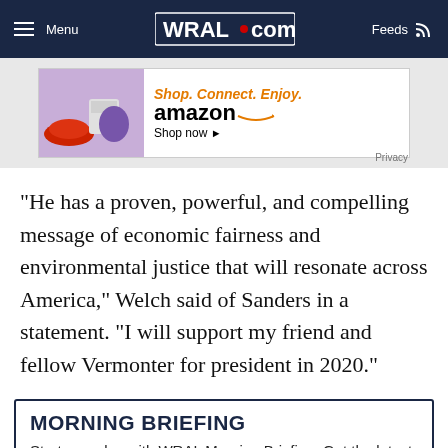Menu | WRAL.com | Feeds
[Figure (other): Amazon advertisement banner: Shop. Connect. Enjoy. amazon Shop now. Privacy.]
"He has a proven, powerful, and compelling message of economic fairness and environmental justice that will resonate across America," Welch said of Sanders in a statement. "I will support my friend and fellow Vermonter for president in 2020."
MORNING BRIEFING
Start your day with WRAL Morning Briefing. Get the latest local news you care about the most straight to your inbox.